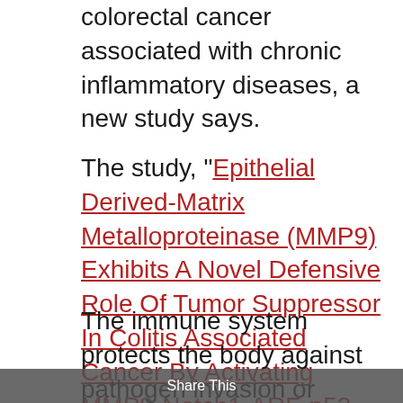colorectal cancer associated with chronic inflammatory diseases, a new study says.
The study, "Epithelial Derived-Matrix Metalloproteinase (MMP9) Exhibits A Novel Defensive Role Of Tumor Suppressor In Colitis Associated Cancer By Activating MMP9-Notch1-ARF-p53 Axis," was published in the journal Oncotarget.
The immune system protects the body against pathogen invasion or tissue damage, but when inflammatory processes become too active or unregulated, they can result in the
Share This